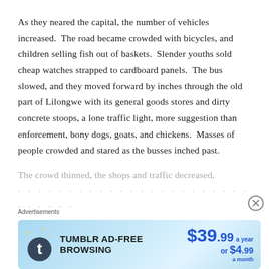As they neared the capital, the number of vehicles increased.  The road became crowded with bicycles, and children selling fish out of baskets.  Slender youths sold cheap watches strapped to cardboard panels.  The bus slowed, and they moved forward by inches through the old part of Lilongwe with its general goods stores and dirty concrete stoops, a lone traffic light, more suggestion than enforcement, bony dogs, goats, and chickens.  Masses of people crowded and stared as the busses inched past.
The crowd thinned, the shops and traffic decreased,
[Figure (other): Tumblr Ad-Free Browsing advertisement banner. Shows Tumblr logo, text 'TUMBLR AD-FREE BROWSING', price '$39.99 a year or $4.99 a month' on a blue gradient background.]